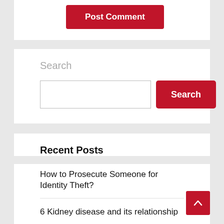Post Comment
Search
Recent Posts
How to Prosecute Someone for Identity Theft?
6 Kidney disease and its relationship
5 Benefits of Cardamom
Heart Attack's Symptom and Remedy